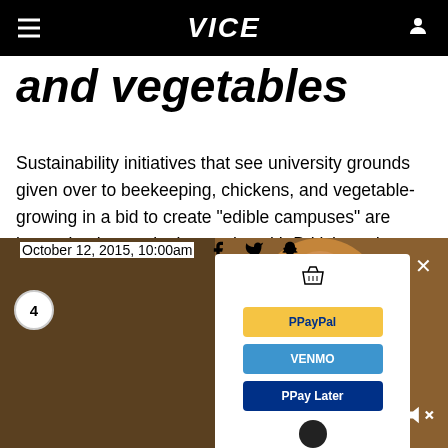VICE
and vegetables
Sustainability initiatives that see university grounds given over to beekeeping, chickens, and vegetable-growing in a bid to create "edible campuses" are becoming increasingly popular with British students.
By Rachel England
October 12, 2015, 10:00am
[Figure (photo): Bottom portion of page showing a woman in a yellow sweater taking a selfie, partially overlaid by a payment popup with PayPal, Venmo, and Pay Later buttons, and a badge showing '4'.]